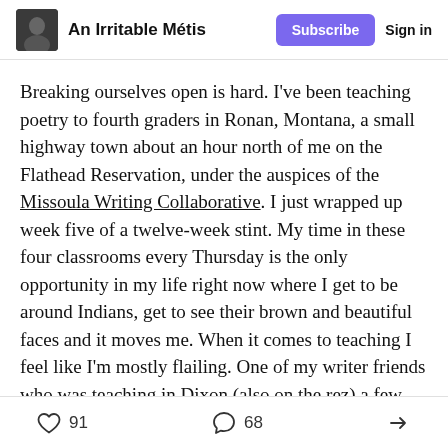An Irritable Métis  Subscribe  Sign in
Breaking ourselves open is hard. I've been teaching poetry to fourth graders in Ronan, Montana, a small highway town about an hour north of me on the Flathead Reservation, under the auspices of the Missoula Writing Collaborative. I just wrapped up week five of a twelve-week stint. My time in these four classrooms every Thursday is the only opportunity in my life right now where I get to be around Indians, get to see their brown and beautiful faces and it moves me. When it comes to teaching I feel like I'm mostly flailing. One of my writer friends who was teaching in Dixon (also on the rez) a few years ago urged me to offer my
91  68